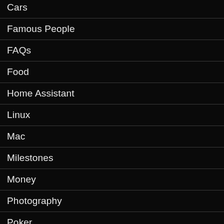Cars
Famous People
FAQs
Food
Home Assistant
Linux
Mac
Milestones
Money
Photography
Poker
Projects
Python